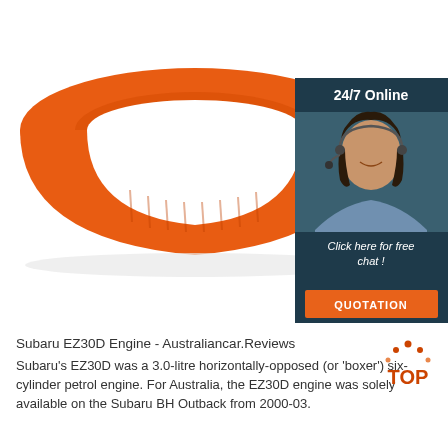[Figure (photo): Orange silicone wristband/ring viewed from the side, isolated on white background. A customer service advertisement box overlays the top-right corner with '24/7 Online', a photo of a smiling woman with a headset, 'Click here for free chat!' and an orange 'QUOTATION' button.]
Subaru EZ30D Engine - Australiancar.Reviews
Subaru's EZ30D was a 3.0-litre horizontally-opposed (or 'boxer') six-cylinder petrol engine. For Australia, the EZ30D engine was solely available on the Subaru BH Outback from 2000-03.
[Figure (logo): TOP logo with orange/red dot pattern above the letters]